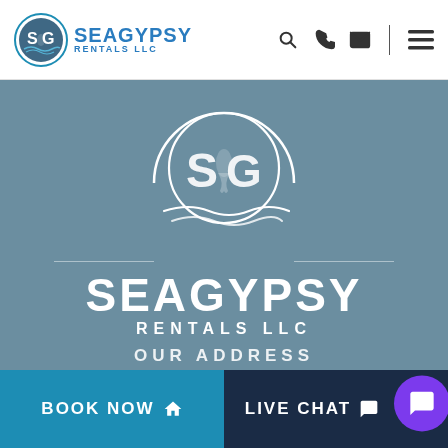[Figure (logo): SeaGypsy Rentals LLC logo in header: circular emblem with mermaid and SG letters, alongside text SEAGYPSY RENTALS LLC]
[Figure (logo): SeaGypsy Rentals LLC large white logo on teal-gray hero background with SG circle emblem, mermaid silhouette, wave design, and text SEAGYPSY RENTALS LLC]
OUR ADDRESS
BOOK NOW
LIVE CHAT